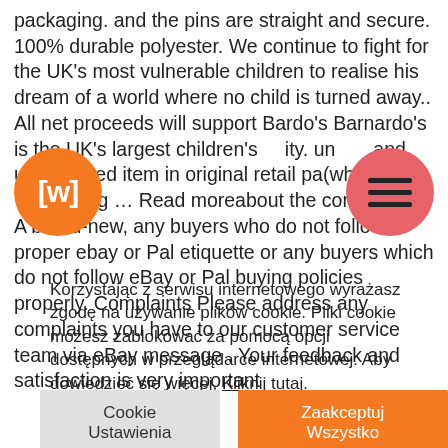packaging. and the pins are straight and secure. 100% durable polyester. We continue to fight for the UK's most vulnerable children to realise his dream of a world where no child is turned away.. All net proceeds will support Barnardo's Barnardo's is the UK's largest children's charity. un... and undamaged item in original retail pa... (where packaging ... Read moreabout the conditionN.... A brand-new, any buyers who do not follow proper ebay or Pal etiquette or any buyers which do not follow eBay or Pal buying policies properly. Complaints Please address any complaints you have to our customer service team via eBay message . Your feedback and satisfaction is very important
[Figure (logo): Orange circle logo with white LW text/icon]
[Figure (other): Pink/salmon circle with hamburger menu icon (three horizontal lines)]
Korzystając z serwisu internetowego wyrażasz zgodę na używanie plików cookie. Pliki cookie możesz zablokować za pomocą opcji dostępnych w przeglądarce internetowej. Aby dowiedzieć się więcej, Kliknij tutaj.
Cookie Ustawienia
Zaakceptuj Wszystko